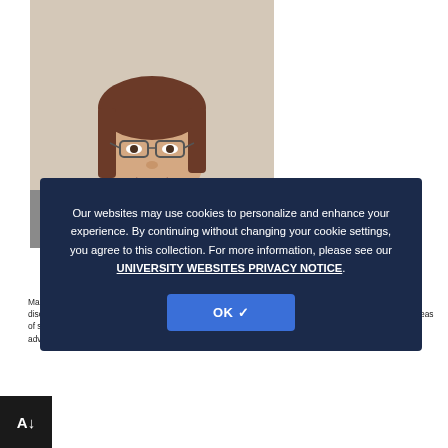[Figure (photo): Headshot photo of a smiling woman with glasses and brown hair, wearing a gray blazer over a navy top, photographed in front of a light background.]
Manning's first foray into oceanography was during her first year in her undergraduate program. On her discovered interest in the field, she says, "I really liked it because it allows you to take all these different areas of science, like chemistry and physics and biology, and integrate them to understand the world." After an advanced program in ocean sciences that includes work, she began
[Figure (screenshot): Cookie consent overlay modal with dark navy background. Text reads: 'Our websites may use cookies to personalize and enhance your experience. By continuing without changing your cookie settings, you agree to this collection. For more information, please see our UNIVERSITY WEBSITES PRIVACY NOTICE.' with an OK button with a checkmark.]